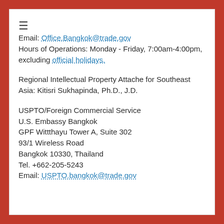Email: Office.Bangkok@trade.gov
Hours of Operations: Monday - Friday, 7:00am-4:00pm, excluding official holidays.
Regional Intellectual Property Attache for Southeast Asia: Kitisri Sukhapinda, Ph.D., J.D.
USPTO/Foreign Commercial Service
U.S. Embassy Bangkok
GPF Wittthayu Tower A, Suite 302
93/1 Wireless Road
Bangkok 10330, Thailand
Tel. +662-205-5243
Email: USPTO.bangkok@trade.gov